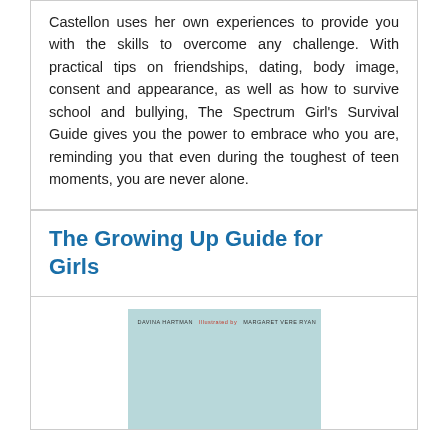Castellon uses her own experiences to provide you with the skills to overcome any challenge. With practical tips on friendships, dating, body image, consent and appearance, as well as how to survive school and bullying, The Spectrum Girl's Survival Guide gives you the power to embrace who you are, reminding you that even during the toughest of teen moments, you are never alone.
The Growing Up Guide for Girls
[Figure (photo): Book cover of 'The Growing Up Guide for Girls' with a light blue/teal textured background and small author text at the top]